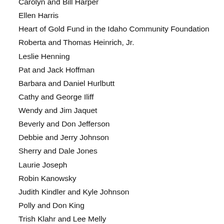Carolyn and Bill Harper
Ellen Harris
Heart of Gold Fund in the Idaho Community Foundation
Roberta and Thomas Heinrich, Jr.
Leslie Henning
Pat and Jack Hoffman
Barbara and Daniel Hurlbutt
Cathy and George Iliff
Wendy and Jim Jaquet
Beverly and Don Jefferson
Debbie and Jerry Johnson
Sherry and Dale Jones
Laurie Joseph
Robin Kanowsky
Judith Kindler and Kyle Johnson
Polly and Don King
Trish Klahr and Lee Melly
Alicia Kossick
Barbara Kruse
Mari and Jack K…